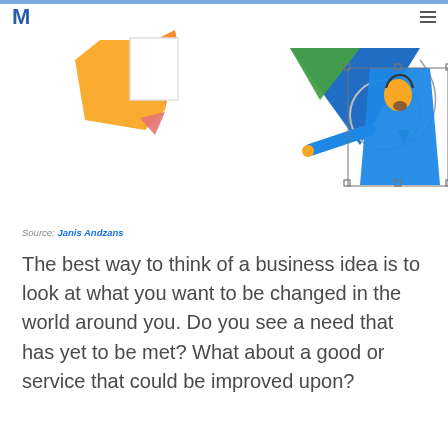M
[Figure (illustration): Colorful illustration showing a designer figure in blue reaching toward geometric shapes (triangles, circles in blue, green, yellow) with a selection bounding box, representing creative/design work.]
Source: Janis Andzans
The best way to think of a business idea is to look at what you want to be changed in the world around you. Do you see a need that has yet to be met? What about a good or service that could be improved upon?